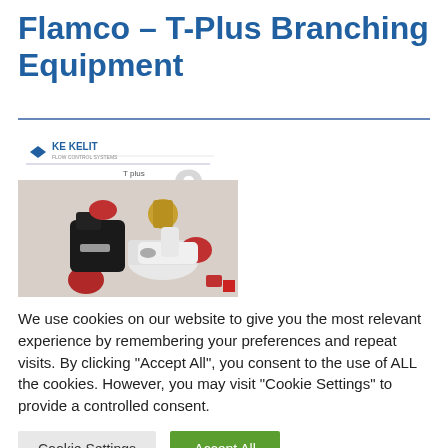Flamco – T-Plus Branching Equipment
[Figure (photo): KE KELIT T-plus branching equipment product catalog cover page showing various pipe fittings and valves including black, white and red components with brass connections. Large gray number '9' visible in background.]
We use cookies on our website to give you the most relevant experience by remembering your preferences and repeat visits. By clicking "Accept All", you consent to the use of ALL the cookies. However, you may visit "Cookie Settings" to provide a controlled consent.